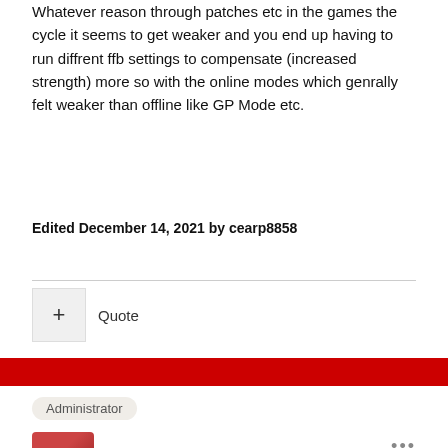Whatever reason through patches etc in the games the cycle it seems to get weaker and you end up having to run diffrent ffb settings to compensate (increased strength) more so with the online modes which genrally felt weaker than offline like GP Mode etc.
Edited December 14, 2021 by cearp8858
Quote
Administrator
BarryBL
Posted December 14, 2021
This is the firmware update in question, just I was unable to confirm this before Thrustmaster did (makes sense, its their update).